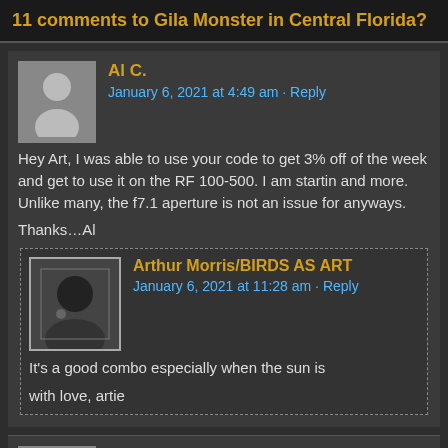11 comments to Gila Monster in Central Florida?
Al C.
January 6, 2021 at 4:49 am · Reply
Hey Art, I was able to use your code to get 3% off of the week and get to use it on the RF 100-500. I am starting and more. Unlike many, the f7.1 aperture is not an issue for anyways.

Thanks…Al
Arthur Morris/BIRDS AS ART
January 6, 2021 at 11:28 am · Reply
It's a good combo especially when the sun is

with love, artie
Marr Miller
January 3, 2021 at 1:40 pm · Reply
My guess is the decaying flower of the Umbrella M